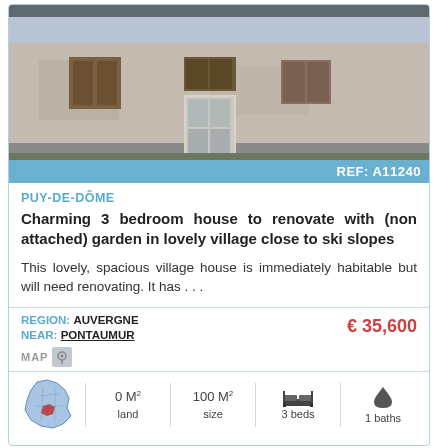[Figure (photo): Exterior photo of a 3-bedroom French village house requiring renovation, showing stone/render facade with brown shutters, multiple windows, and a white door. Sky background visible.]
REF: A11240
PUY-DE-DÔME
Charming 3 bedroom house to renovate with (non attached) garden in lovely village close to ski slopes
This lovely, spacious village house is immediately habitable but will need renovating. It has . . .
REGION: AUVERGNE
NEAR: PONTAUMUR
MAP
€ 35,600
0 M² land
100 M² size
3 beds
1 baths